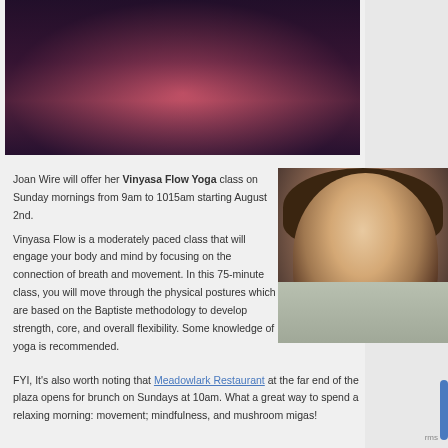[Figure (photo): Hero banner photo showing a sunset over water with purple and pink hues, silhouette of a person reflected]
Joan Wire will offer her Vinyasa Flow Yoga class on Sunday mornings from 9am to 1015am starting August 2nd.
[Figure (photo): Portrait photo of a smiling woman with dark brown hair and bangs, wearing a light grey cable-knit sweater, posed with hand near face against dark background]
Vinyasa Flow is a moderately paced class that will engage your body and mind by focusing on the connection of breath and movement. In this 75-minute class, you will move through the physical postures which are based on the Baptiste methodology to develop strength, core, and overall flexibility. Some knowledge of yoga is recommended.
FYI, It's also worth noting that Meadowlark Restaurant at the far end of the plaza opens for brunch on Sundays at 10am. What a great way to spend a relaxing morning: movement; mindfulness, and mushroom migas!